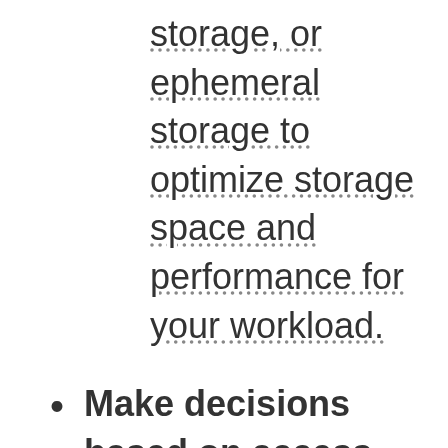storage, or ephemeral storage to optimize storage space and performance for your workload.
Make decisions based on access patterns and metrics: Choose storage